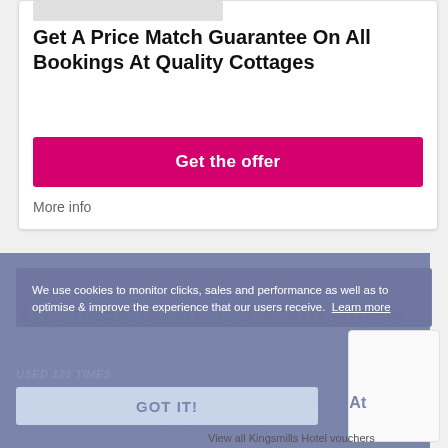Get A Price Match Guarantee On All Bookings At Quality Cottages
Get the offer
More info
Try these related student offers
We use cookies to monitor clicks, sales and performance as well as to optimise & improve the experience that our users receive.  Learn more
USED 121 TIMES
GOT IT!
Up To 10% Off Bookings At Kingsmills Hotel
View all Kingsmills Hotel vouchers